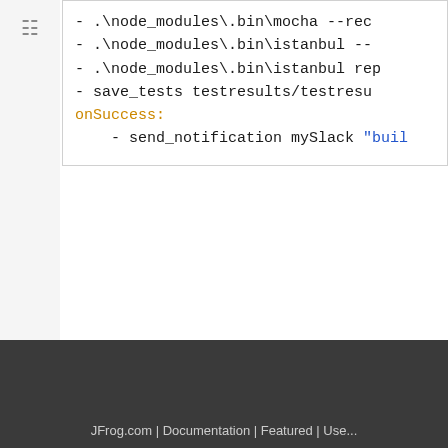[Figure (screenshot): Tree/folder icon in left sidebar]
- .\node_modules\.bin\mocha --rec
- .\node_modules\.bin\istanbul --
- .\node_modules\.bin\istanbul rep
- save_tests testresults/testresu
onSuccess:
    - send_notification mySlack "buil
No labels
JFrog.com | Documentation | Featured | Use...